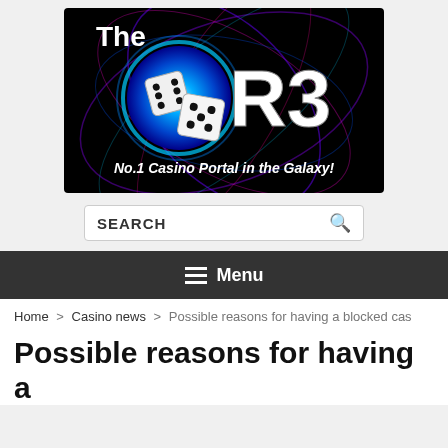[Figure (logo): The ORB logo — black background with glowing blue orb, two white dice, colorful swirling light trails, white text 'The ORB' and subtitle 'No.1 Casino Portal in the Galaxy!']
SEARCH
Menu
Home > Casino news > Possible reasons for having a blocked cas
Possible reasons for having a